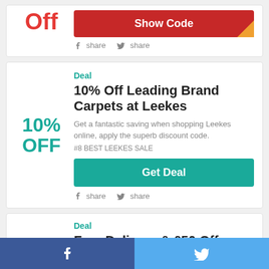OFF
Show Code
share  share
Deal
10% Off Leading Brand Carpets at Leekes
10% OFF
Get a fantastic saving when shopping Leekes online, apply the superb discount code.
#8 BEST LEEKES SALE
Get Deal
share  share
Deal
Free Delivery & £50 Off
Added by Laurel Fortune from Leekes special